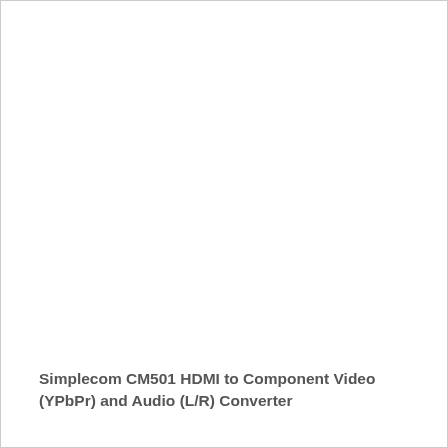Simplecom CM501 HDMI to Component Video (YPbPr) and Audio (L/R) Converter